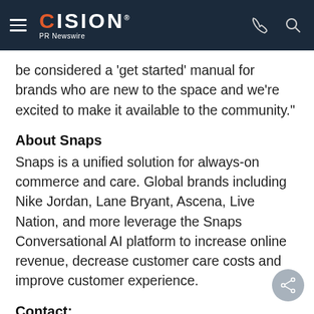CISION PR Newswire
be considered a 'get started' manual for brands who are new to the space and we're excited to make it available to the community."
About Snaps
Snaps is a unified solution for always-on commerce and care. Global brands including Nike Jordan, Lane Bryant, Ascena, Live Nation, and more leverage the Snaps Conversational AI platform to increase online revenue, decrease customer care costs and improve customer experience.
Contact: